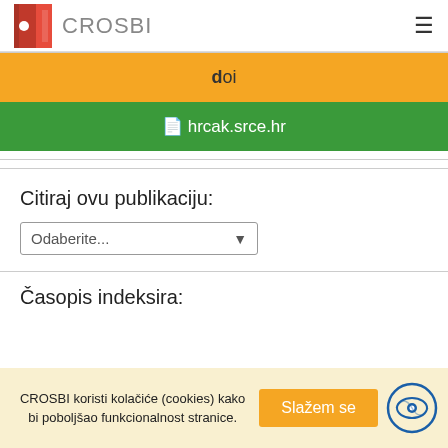CROSBI
doi
hrcak.srce.hr
Citiraj ovu publikaciju:
Odaberite...
Časopis indeksira:
CROSBI koristi kolačiće (cookies) kako bi poboljšao funkcionalnost stranice. Slažem se